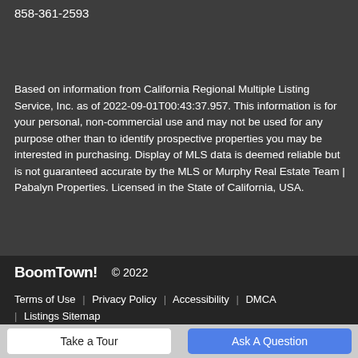858-361-2593
Based on information from California Regional Multiple Listing Service, Inc. as of 2022-09-01T00:43:37.957. This information is for your personal, non-commercial use and may not be used for any purpose other than to identify prospective properties you may be interested in purchasing. Display of MLS data is deemed reliable but is not guaranteed accurate by the MLS or Murphy Real Estate Team | Pabalyn Properties. Licensed in the State of California, USA.
BoomTown! © 2022
Terms of Use | Privacy Policy | Accessibility | DMCA | Listings Sitemap
Take a Tour
Ask A Question